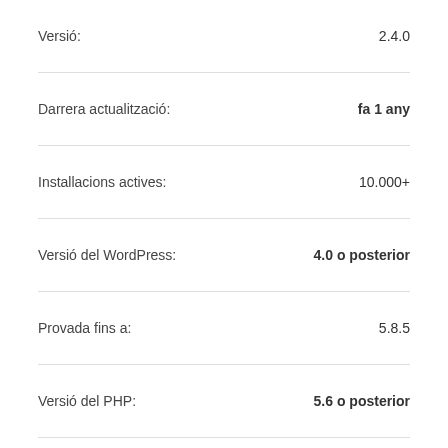| Versió: | 2.4.0 |
| Darrera actualització: | fa 1 any |
| Installacions actives: | 10.000+ |
| Versió del WordPress: | 4.0 o posterior |
| Provada fins a: | 5.8.5 |
| Versió del PHP: | 5.6 o posterior |
| Idioma: | English (US) |
| Etiquetes: | 301 redirects  schema  seo  wordpress seo  xml sitemap |
Vista avançada